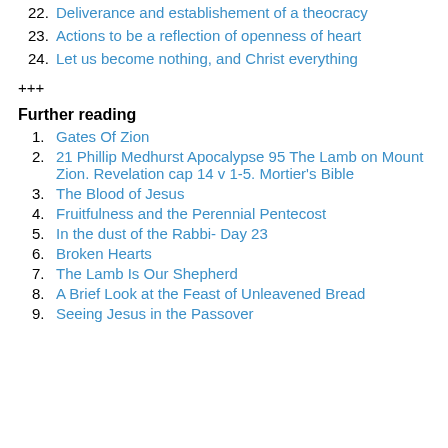22. Deliverance and establishement of a theocracy
23. Actions to be a reflection of openness of heart
24. Let us become nothing, and Christ everything
+++
Further reading
1. Gates Of Zion
2. 21 Phillip Medhurst Apocalypse 95 The Lamb on Mount Zion. Revelation cap 14 v 1-5. Mortier's Bible
3. The Blood of Jesus
4. Fruitfulness and the Perennial Pentecost
5. In the dust of the Rabbi- Day 23
6. Broken Hearts
7. The Lamb Is Our Shepherd
8. A Brief Look at the Feast of Unleavened Bread
9. Seeing Jesus in the Passover